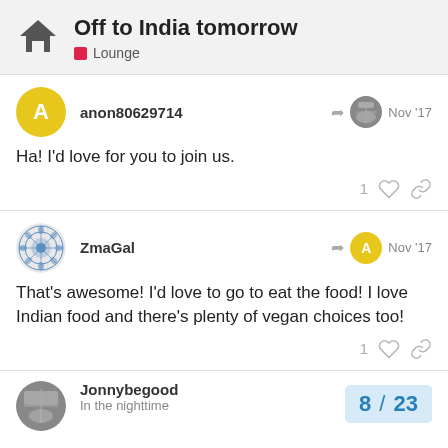Off to India tomorrow — Lounge
anon80629714 — Nov '17
Ha! I'd love for you to join us.
ZmaGal — Nov '17
That's awesome! I'd love to go to eat the food! I love Indian food and there's plenty of vegan choices too!
Jonnybegood — In the nighttime — 8 / 23